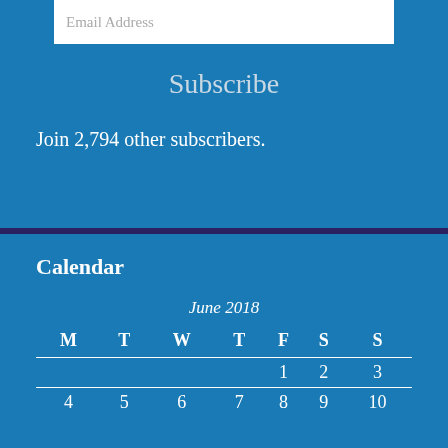Email Address
Subscribe
Join 2,794 other subscribers.
Calendar
| M | T | W | T | F | S | S |
| --- | --- | --- | --- | --- | --- | --- |
|  |  |  |  | 1 | 2 | 3 |
| 4 | 5 | 6 | 7 | 8 | 9 | 10 |